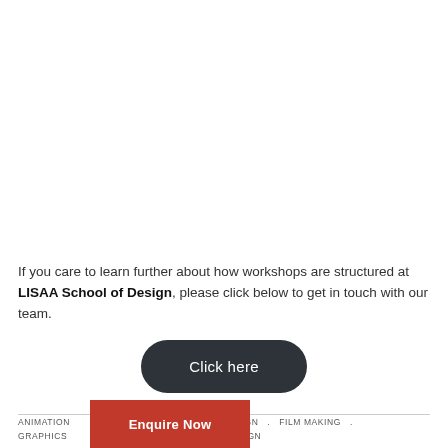If you care to learn further about how workshops are structured at LISAA School of Design, please click below to get in touch with our team.
[Figure (other): Dark rounded button with white text reading 'Click here']
ANIMATION . COMMUNICATIONS DESIGN . FILM MAKING . GRAPHICS . R AND PRODUCT DESIGN
[Figure (other): Red button with white text reading 'Enquire Now']